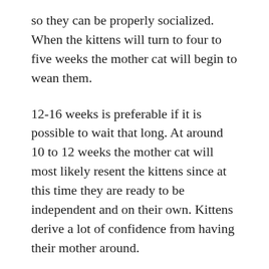so they can be properly socialized. When the kittens will turn to four to five weeks the mother cat will begin to wean them.
12-16 weeks is preferable if it is possible to wait that long. At around 10 to 12 weeks the mother cat will most likely resent the kittens since at this time they are ready to be independent and on their own. Kittens derive a lot of confidence from having their mother around.
If you remove the kittens from their mother before ten weeks the behavior remains the